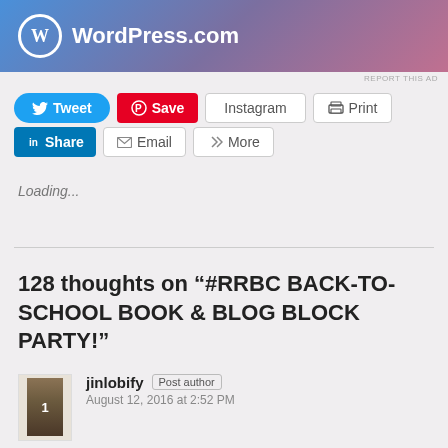[Figure (logo): WordPress.com banner with logo and gradient background]
REPORT THIS AD
Tweet  Save  Instagram  Print
Share  Email  More
Loading...
128 thoughts on "#RRBC BACK-TO-SCHOOL BOOK & BLOG BLOCK PARTY!"
jinlobify  Post author
August 12, 2016 at 2:52 PM